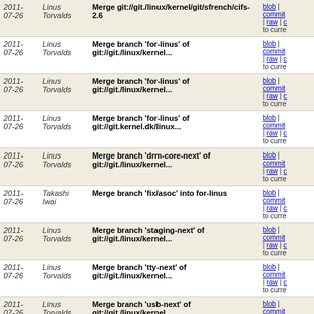| Date | Author | Commit Message | Links |
| --- | --- | --- | --- |
| 2011-07-26 | Linus Torvalds | Merge git://git./linux/kernel/git/sfrench/cifs-2.6 | blob | commit | raw | c | to curre |
| 2011-07-26 | Linus Torvalds | Merge branch 'for-linus' of git://git./linux/kernel... | blob | commit | raw | c | to curre |
| 2011-07-26 | Linus Torvalds | Merge branch 'for-linus' of git://git./linux/kernel... | blob | commit | raw | c | to curre |
| 2011-07-26 | Linus Torvalds | Merge branch 'for-linus' of git://git.kernel.dk/linux... | blob | commit | raw | c | to curre |
| 2011-07-26 | Linus Torvalds | Merge branch 'drm-core-next' of git://git./linux/kernel... | blob | commit | raw | c | to curre |
| 2011-07-26 | Takashi Iwai | Merge branch 'fix/asoc' into for-linus | blob | commit | raw | c | to curre |
| 2011-07-26 | Linus Torvalds | Merge branch 'staging-next' of git://git./linux/kernel... | blob | commit | raw | c | to curre |
| 2011-07-26 | Linus Torvalds | Merge branch 'tty-next' of git://git./linux/kernel... | blob | commit | raw | c | to curre |
| 2011-07-26 | Linus Torvalds | Merge branch 'usb-next' of git://git./linux/kernel... | blob | commit | raw | c | to curre |
| 2011-07-26 | Linus Torvalds | Merge branch 'driver-core-next' of git://git./linux... | blob | commit | raw | c | to curre |